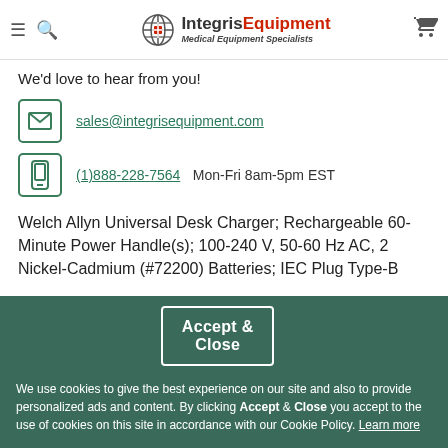[Figure (logo): Integris Equipment logo with globe icon, 'IntegrisEquipment' text in black and red, and 'Medical Equipment Specialists' subtitle in italic]
We'd love to hear from you!
sales@integrisequipment.com
(1)888-228-7564   Mon-Fri 8am-5pm EST
Welch Allyn Universal Desk Charger; Rechargeable 60-Minute Power Handle(s); 100-240 V, 50-60 Hz AC, 2 Nickel-Cadmium (#72200) Batteries; IEC Plug Type-B
Accept & Close
We use cookies to give the best experience on our site and also to provide personalized ads and content. By clicking Accept & Close you accept to the use of cookies on this site in accordance with our Cookie Policy. Learn more